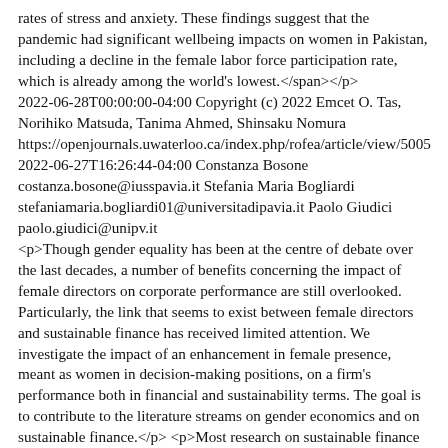rates of stress and anxiety. These findings suggest that the pandemic had significant wellbeing impacts on women in Pakistan, including a decline in the female labor force participation rate, which is already among the world's lowest.</span></p> 2022-06-28T00:00:00-04:00 Copyright (c) 2022 Emcet O. Tas, Norihiko Matsuda, Tanima Ahmed, Shinsaku Nomura https://openjournals.uwaterloo.ca/index.php/rofea/article/view/5005 2022-06-27T16:26:44-04:00 Constanza Bosone costanza.bosone@iusspavia.it Stefania Maria Bogliardi stefaniamaria.bogliardi01@universitadipavia.it Paolo Giudici paolo.giudici@unipv.it <p>Though gender equality has been at the centre of debate over the last decades, a number of benefits concerning the impact of female directors on corporate performance are still overlooked. Particularly, the link that seems to exist between female directors and sustainable finance has received limited attention. We investigate the impact of an enhancement in female presence, meant as women in decision-making positions, on a firm's performance both in financial and sustainability terms. The goal is to contribute to the literature streams on gender economics and on sustainable finance.</p> <p>Most research on sustainable finance and its impact on corporate governance rely only on aggregate ESG ratings for their results. Such scores are typically a black-box, with financial providers supplying little information about their methodology.&nbsp; Our analysis not only develops disaggregate